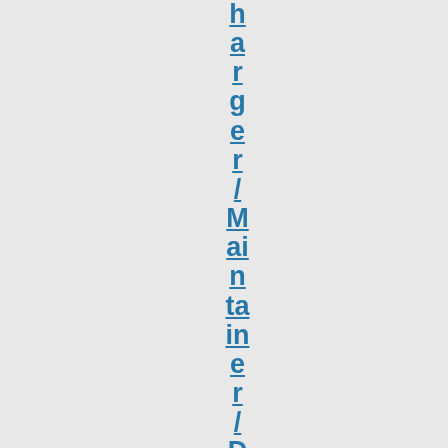harger/Maintainer/Desulfator hooked u